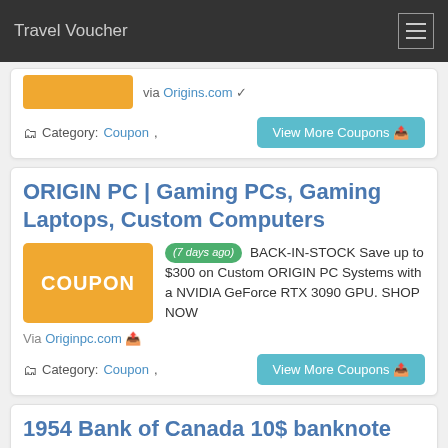Travel Voucher
via Origins.com
Category: Coupon,
View More Coupons
ORIGIN PC | Gaming PCs, Gaming Laptops, Custom Computers
(7 days ago) BACK-IN-STOCK Save up to $300 on Custom ORIGIN PC Systems with a NVIDIA GeForce RTX 3090 GPU. SHOP NOW
Via Originpc.com
Category: Coupon,
View More Coupons
1954 Bank of Canada 10$ banknote